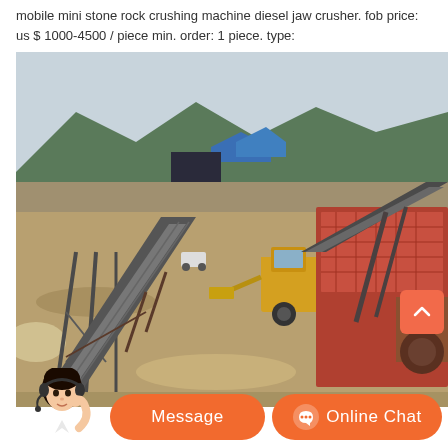mobile mini stone rock crushing machine diesel jaw crusher. fob price: us $ 1000-4500 / piece min. order: 1 piece. type:
[Figure (photo): Photograph of a mobile stone crushing plant at an outdoor quarry site. A yellow wheel loader is visible in the background. The foreground shows conveyor belts and crushing equipment. Mountains and blue tarps visible in the background.]
Message
Online Chat